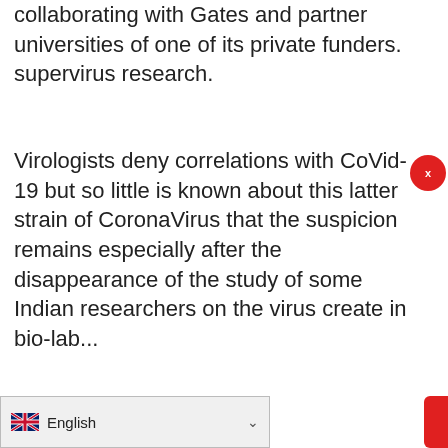collaborating with Gates and partner universities of one of its private funders. supervirus research.
Virologists deny correlations with CoVid-19 but so little is known about this latter strain of CoronaVirus that the suspicion remains especially after the disappearance of the study of some Indian researchers on the virus create in bio-lab...
10 – THE PROPHECY ON THE NEW WORLD ORDER
[Figure (photo): Close-up photo of a human ear with plastic wrap covering it]
Se hai l'acufene (fischio nelle orecchie) sbrigati .
ottamax
English